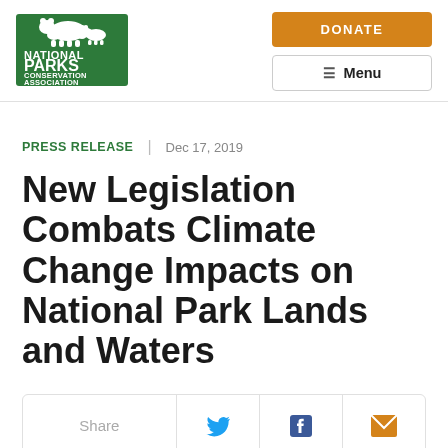[Figure (logo): National Parks Conservation Association logo — green square with bear and cub silhouette above bold text NATIONAL PARKS CONSERVATION ASSOCIATION]
DONATE
Menu
PRESS RELEASE | Dec 17, 2019
New Legislation Combats Climate Change Impacts on National Park Lands and Waters
Share